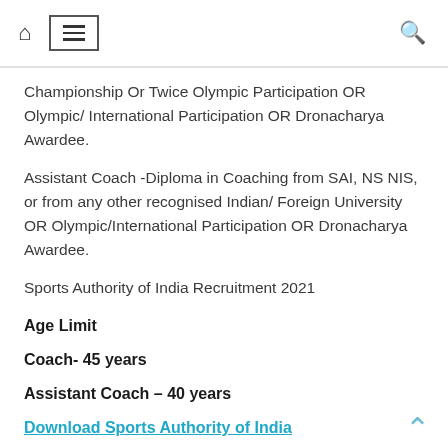home menu search
Championship Or Twice Olympic Participation OR Olympic/ International Participation OR Dronacharya Awardee.
Assistant Coach -Diploma in Coaching from SAI, NS NIS, or from any other recognised Indian/ Foreign University OR Olympic/International Participation OR Dronacharya Awardee.
Sports Authority of India Recruitment 2021
Age Limit
Coach- 45 years
Assistant Coach – 40 years
Download Sports Authority of India